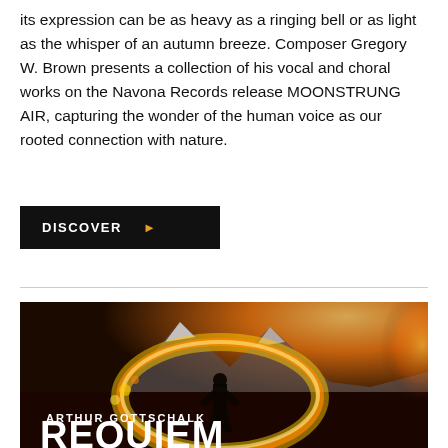its expression can be as heavy as a ringing bell or as light as the whisper of an autumn breeze. Composer Gregory W. Brown presents a collection of his vocal and choral works on the Navona Records release MOONSTRUNG AIR, capturing the wonder of the human voice as our rooted connection with nature.
DISCOVER ▶
[Figure (illustration): Album cover art for Arthur Gottschalk's Requiem. A dramatic scene showing a silhouette of a person standing in front of a swirling ring of fire/light, with a mountain in the background and a bright glowing sky. Text reads 'ARTHUR GOTTSCHALK' and 'REQUIEM' in large white letters.]